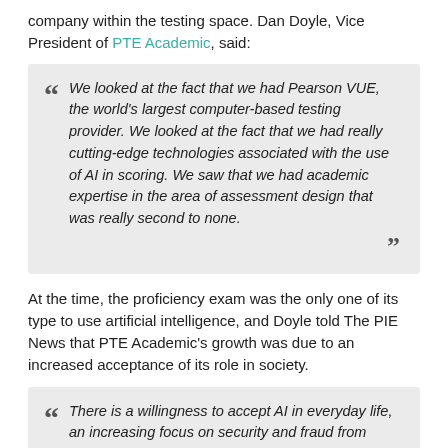company within the testing space. Dan Doyle, Vice President of PTE Academic, said:
We looked at the fact that we had Pearson VUE, the world's largest computer-based testing provider. We looked at the fact that we had really cutting-edge technologies associated with the use of AI in scoring. We saw that we had academic expertise in the area of assessment design that was really second to none.
At the time, the proficiency exam was the only one of its type to use artificial intelligence, and Doyle told The PIE News that PTE Academic's growth was due to an increased acceptance of its role in society.
There is a willingness to accept AI in everyday life, an increasing focus on security and fraud from governments and universities, and just ongoing increase in international mobility.